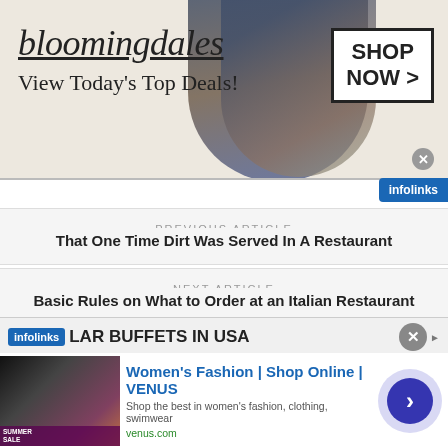[Figure (screenshot): Bloomingdales advertisement banner: logo, 'View Today's Top Deals!' tagline, model with wide-brim hat, 'SHOP NOW >' button box]
PREVIOUS ARTICLE
That One Time Dirt Was Served In A Restaurant
NEXT ARTICLE
Basic Rules on What to Order at an Italian Restaurant
COMMENTS (0)
LAR BUFFETS IN USA
[Figure (screenshot): Women's Fashion | Shop Online | VENUS ad with thumbnail, description 'Shop the best in women's fashion, clothing, swimwear', url venus.com, and arrow button]